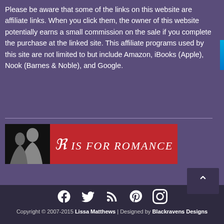Please be aware that some of the links on this website are affiliate links. When you click them, the owner of this website potentially earns a small commission on the sale if you complete the purchase at the linked site. This affiliate programs used by this site are not limited to but include Amazon, iBooks (Apple), Nook (Barnes & Noble), and Google.
[Figure (logo): R is for Romance banner logo with red background and silhouette image on left]
Copyright © 2007-2015 Lissa Matthews | Designed by Blackravens Designs